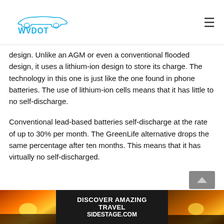WVDOT
design. Unlike an AGM or even a conventional flooded design, it uses a lithium-ion design to store its charge. The technology in this one is just like the one found in phone batteries. The use of lithium-ion cells means that it has little to no self-discharge.
Conventional lead-based batteries self-discharge at the rate of up to 30% per month. The GreenLife alternative drops the same percentage after ten months. This means that it has virtually no self-discharged.
[Figure (infographic): Advertisement banner: DISCOVER AMAZING TRAVEL SIDESTAGE.COM with sunset/landscape images on left and right sides]